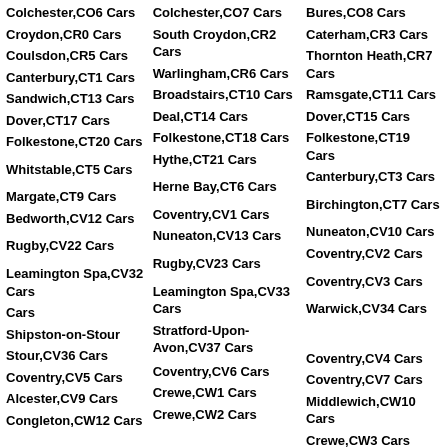Colchester,CO6 Cars
Colchester,CO7 Cars
Bures,CO8 Cars
Croydon,CR0 Cars
South Croydon,CR2 Cars
Caterham,CR3 Cars
Coulsdon,CR5 Cars
Warlingham,CR6 Cars
Thornton Heath,CR7 Cars
Canterbury,CT1 Cars
Broadstairs,CT10 Cars
Ramsgate,CT11 Cars
Sandwich,CT13 Cars
Deal,CT14 Cars
Dover,CT15 Cars
Dover,CT17 Cars
Folkestone,CT18 Cars
Folkestone,CT19 Cars
Folkestone,CT20 Cars
Hythe,CT21 Cars
Canterbury,CT3 Cars
Whitstable,CT5 Cars
Herne Bay,CT6 Cars
Birchington,CT7 Cars
Margate,CT9 Cars
Coventry,CV1 Cars
Nuneaton,CV10 Cars
Bedworth,CV12 Cars
Nuneaton,CV13 Cars
Coventry,CV2 Cars
Rugby,CV22 Cars
Rugby,CV23 Cars
Coventry,CV3 Cars
Leamington Spa,CV32 Cars
Leamington Spa,CV33 Cars
Warwick,CV34 Cars
Shipston-on-Stour,CV36 Cars
Stratford-Upon-Avon,CV37 Cars
Coventry,CV4 Cars
Coventry,CV6 Cars
Coventry,CV7 Cars
Alcester,CV9 Cars
Crewe,CW1 Cars
Middlewich,CW10 Cars
Congleton,CW12 Cars
Crewe,CW2 Cars
Crewe,CW3 Cars